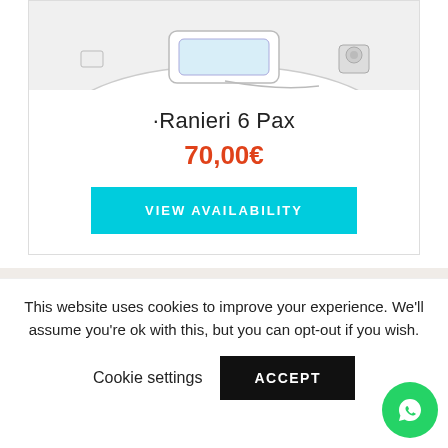[Figure (illustration): Partial view of a boat illustration in a light gray product card image area]
·Ranieri 6 Pax
70,00€
VIEW AVAILABILITY
Varenna Boat Rental
These vessels can take either six or seven passengers with a 40hp engine, costs are listed below and include both insurance and fuel
This website uses cookies to improve your experience. We'll assume you're ok with this, but you can opt-out if you wish.
Cookie settings
ACCEPT